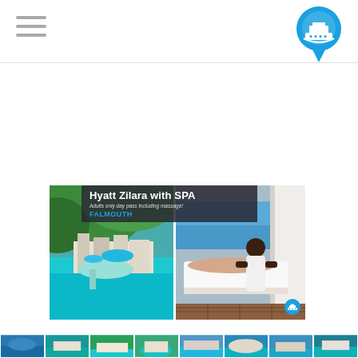[Figure (logo): Hamburger menu icon (three horizontal lines) in top left header]
[Figure (logo): Cruise ship location pin icon in cyan/blue, top right header]
[Figure (photo): Two-panel image: left panel aerial view of Hyatt Zilara resort with turquoise water, right panel spa massage scene on outdoor deck with white curtains. Overlay banner reads 'Hyatt Zilara with SPA - Adults only day pass including massage! FALMOUTH'. Small cruise badge in bottom right.]
[Figure (photo): Bottom thumbnail strip showing multiple small resort/destination photos]